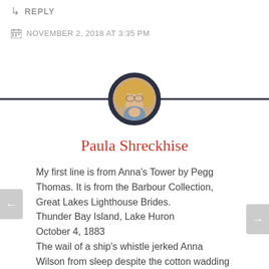↳ REPLY
NOVEMBER 2, 2018 AT 3:35 PM
[Figure (photo): Circular avatar photo of Paula Shreckhise, a woman with blonde hair, centered on a dark horizontal divider line]
Paula Shreckhise
My first line is from Anna's Tower by Pegg Thomas. It is from the Barbour Collection, Great Lakes Lighthouse Brides.
Thunder Bay Island, Lake Huron
October 4, 1883
The wail of a ship's whistle jerked Anna Wilson from sleep despite the cotton wadding she'd shoved in her ears before bed.